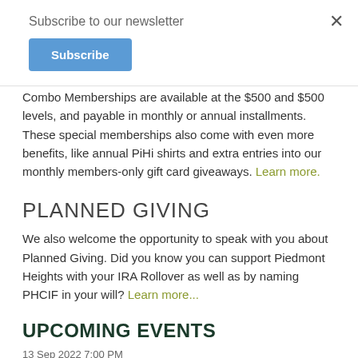Subscribe to our newsletter
Subscribe
Combo Memberships are available at the $500 and $500 levels, and payable in monthly or annual installments. These special memberships also come with even more benefits, like annual PiHi shirts and extra entries into our monthly members-only gift card giveaways. Learn more.
PLANNED GIVING
We also welcome the opportunity to speak with you about Planned Giving. Did you know you can support Piedmont Heights with your IRA Rollover as well as by naming PHCIF in your will? Learn more...
UPCOMING EVENTS
13 Sep 2022 7:00 PM